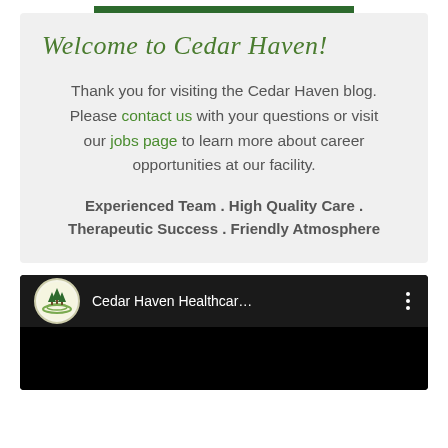Welcome to Cedar Haven!
Thank you for visiting the Cedar Haven blog. Please contact us with your questions or visit our jobs page to learn more about career opportunities at our facility.
Experienced Team . High Quality Care . Therapeutic Success . Friendly Atmosphere
[Figure (screenshot): Cedar Haven Healthcare YouTube video embed with logo and channel name]